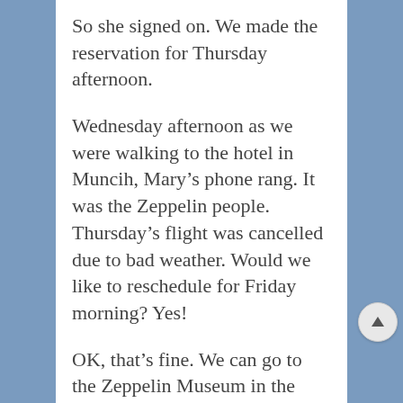So she signed on. We made the reservation for Thursday afternoon.
Wednesday afternoon as we were walking to the hotel in Muncih, Mary’s phone rang. It was the Zeppelin people. Thursday’s flight was cancelled due to bad weather. Would we like to reschedule for Friday morning? Yes!
OK, that’s fine. We can go to the Zeppelin Museum in the afternoon, take the flight in the morning, and get the train to Baden Baden in the afternoon. We’ll be at Wilfried’s before dinner time.